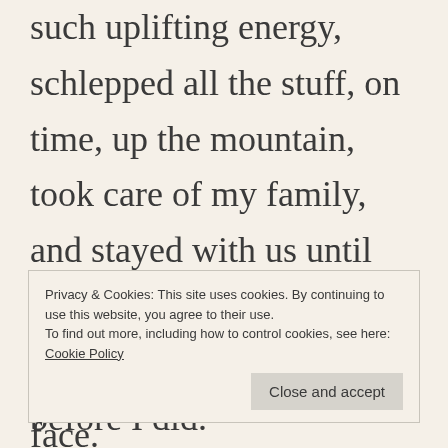such uplifting energy, schlepped all the stuff, on time, up the mountain, took care of my family, and stayed with us until Tru turned the corner. They said “Next year!” before I did.
Privacy & Cookies: This site uses cookies. By continuing to use this website, you agree to their use.
To find out more, including how to control cookies, see here: Cookie Policy
face.